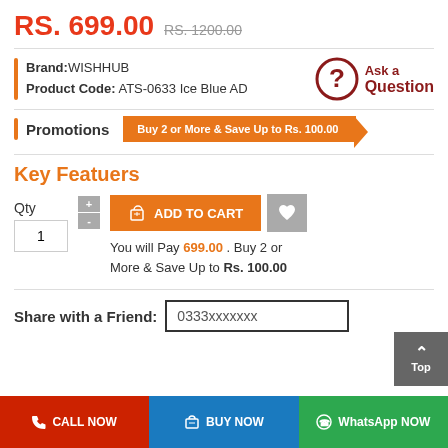RS. 699.00  RS. 1200.00
Brand: WISHHUB
Product Code: ATS-0633 Ice Blue AD
[Figure (infographic): Ask a Question button with question mark icon in dark red]
Promotions
Buy 2 or More & Save Up to Rs. 100.00
Key Featuers
Qty  [ADD TO CART] [wishlist]
You will Pay 699.00 . Buy 2 or More & Save Up to Rs. 100.00
Share with a Friend: 0333xxxxxxx
CALL NOW  BUY NOW  WhatsApp NOW